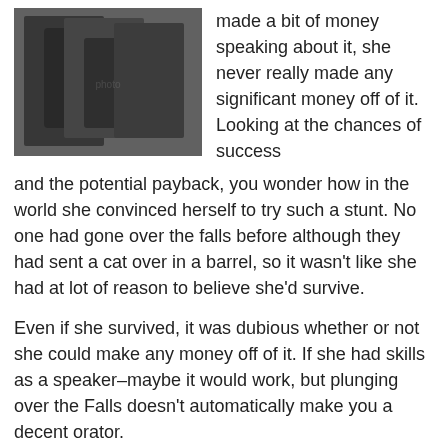[Figure (photo): Black and white historical photograph of a person in dark clothing outdoors]
made a bit of money speaking about it, she never really made any significant money off of it. Looking at the chances of success and the potential payback, you wonder how in the world she convinced herself to try such a stunt. No one had gone over the falls before although they had sent a cat over in a barrel, so it wasn't like she had at lot of reason to believe she'd survive.
Even if she survived, it was dubious whether or not she could make any money off of it. If she had skills as a speaker–maybe it would work, but plunging over the Falls doesn't automatically make you a decent orator.
This is the same way many people choose what